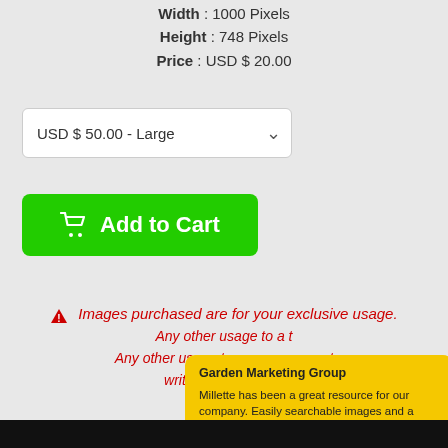Width : 1000 Pixels
Height : 748 Pixels
Price : USD $ 20.00
USD $ 50.00 - Large
Add to Cart
⚠ Images purchased are for your exclusive usage. Any other usage to a... t written permiss...
Garden Marketing Group
Millette has been a great resource for our company. Easily searchable images and a quick ordering process are definite positives. Garden Marketing Group